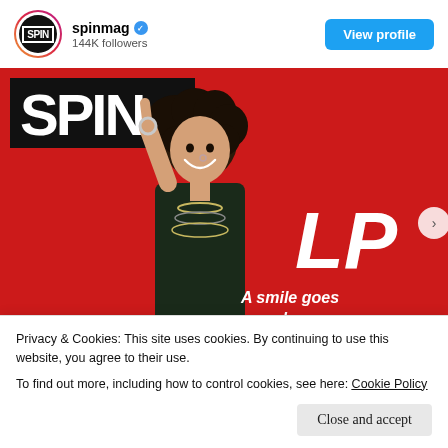[Figure (screenshot): Instagram-style post card showing spinmag profile with avatar, verified badge, follower count, and View profile button]
spinmag ✓
144K followers
[Figure (photo): SPIN magazine cover featuring artist LP on red background with SPIN logo, 'LP' text, and tagline 'A smile goes a long way']
Privacy & Cookies: This site uses cookies. By continuing to use this website, you agree to their use.
To find out more, including how to control cookies, see here: Cookie Policy
Close and accept